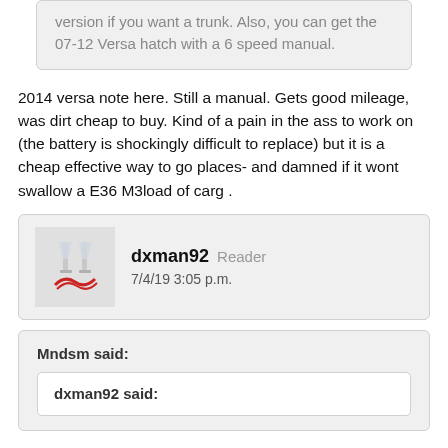version if you want a trunk. Also, you can get the 07-12 Versa hatch with a 6 speed manual.
2014 versa note here. Still a manual. Gets good mileage, was dirt cheap to buy. Kind of a pain in the ass to work on (the battery is shockingly difficult to replace) but it is a cheap effective way to go places- and damned if it wont swallow a E36 M3load of carg .
dxman92  Reader  7/4/19 3:05 p.m.
Mndsm said:
dxman92 said: